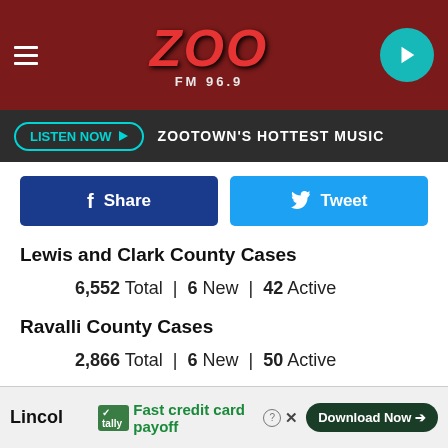ZOO FM 96.9 — ZOOTOWN'S HOTTEST MUSIC
Share  Tweet
Lewis and Clark County Cases
6,552 Total  |  6 New  |  42 Active
Ravalli County Cases
2,866 Total  |  6 New  |  50 Active
Lake County Cases
1,978 Total  |  5 New  |  23 Active
Lincol[n County Cases]
Fast credit card payoff  [Tally ad] Download Now